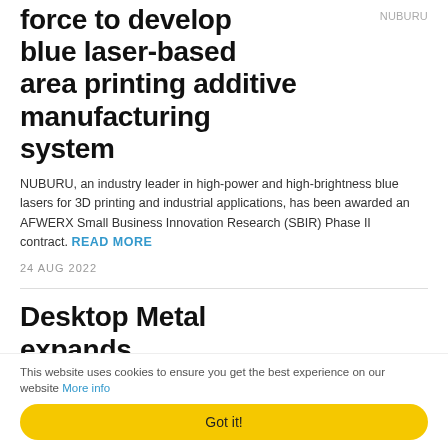Force to develop blue laser-based area printing additive manufacturing system
NUBURU, an industry leader in high-power and high-brightness blue lasers for 3D printing and industrial applications, has been awarded an AFWERX Small Business Innovation Research (SBIR) Phase II contract. READ MORE
24 AUG 2022
Desktop Metal expands partnership with Henkel and
This website uses cookies to ensure you get the best experience on our website More info
Got it!